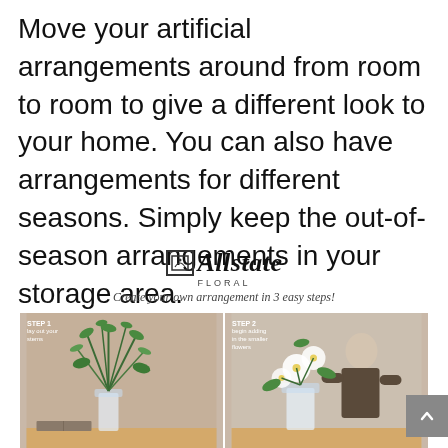Move your artificial arrangements around from room to room to give a different look to your home. You can also have arrangements for different seasons. Simply keep the out-of-season arrangements in your storage area.
[Figure (photo): Allstate Floral logo with tagline 'Create your own arrangement in 3 easy steps!' and two step photos showing floral arrangement process: Step 1 - lay out your stems, Step 2 - begin adding in the smaller flowers.]